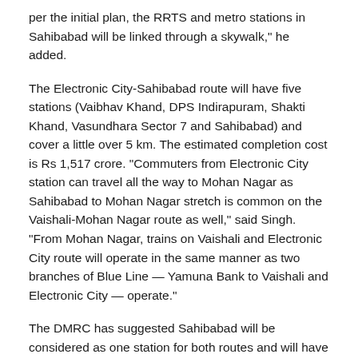per the initial plan, the RRTS and metro stations in Sahibabad will be linked through a skywalk," he added.
The Electronic City-Sahibabad route will have five stations (Vaibhav Khand, DPS Indirapuram, Shakti Khand, Vasundhara Sector 7 and Sahibabad) and cover a little over 5 km. The estimated completion cost is Rs 1,517 crore. "Commuters from Electronic City station can travel all the way to Mohan Nagar as Sahibabad to Mohan Nagar stretch is common on the Vaishali-Mohan Nagar route as well," said Singh. "From Mohan Nagar, trains on Vaishali and Electronic City route will operate in the same manner as two branches of Blue Line — Yamuna Bank to Vaishali and Electronic City — operate."
The DMRC has suggested Sahibabad will be considered as one station for both routes and will have an additional building to cater to Noida Electronic City commuters. "Mohan Nagar will be an interchange for the two metro routes," said Singh.